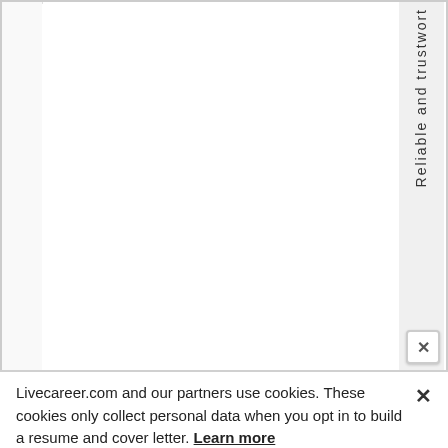[Figure (screenshot): A webpage screenshot showing a rotated/vertical text reading 'Reliable and trustwort' (trustworthy cut off) along the right sidebar of a white content area, with a close (x) button in the bottom right corner.]
Livecareer.com and our partners use cookies. These cookies only collect personal data when you opt in to build a resume and cover letter. Learn more